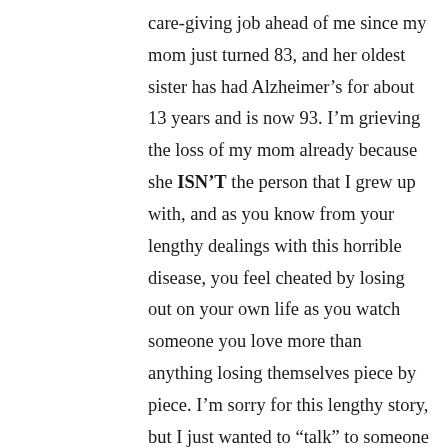care-giving job ahead of me since my mom just turned 83, and her oldest sister has had Alzheimer’s for about 13 years and is now 93. I’m grieving the loss of my mom already because she ISN’T the person that I grew up with, and as you know from your lengthy dealings with this horrible disease, you feel cheated by losing out on your own life as you watch someone you love more than anything losing themselves piece by piece. I’m sorry for this lengthy story, but I just wanted to “talk” to someone who truly KNOWS what I’m dealing with, and I only was able to attend one support group before COVID shut them all down. I am happy for you, Lauren, that you are adjusting to your “new normal” without your mom, and I know that she is